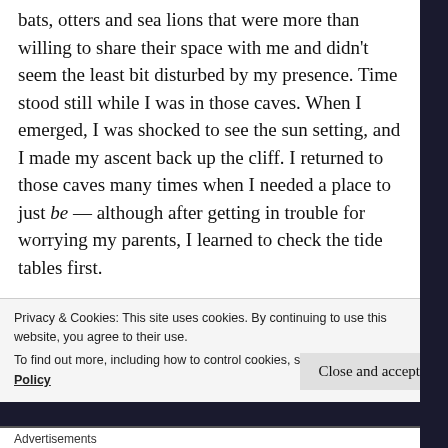bats, otters and sea lions that were more than willing to share their space with me and didn't seem the least bit disturbed by my presence. Time stood still while I was in those caves. When I emerged, I was shocked to see the sun setting, and I made my ascent back up the cliff. I returned to those caves many times when I needed a place to just be — although after getting in trouble for worrying my parents, I learned to check the tide tables first.
When I got older and began to expand my geographic horizons, I discovered the foothills, forests and
Privacy & Cookies: This site uses cookies. By continuing to use this website, you agree to their use.
To find out more, including how to control cookies, see here: Cookie Policy
Close and accept
Advertisements